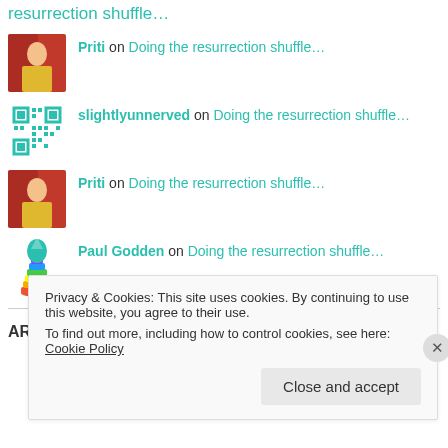resurrection shuffle…
Priti on Doing the resurrection shuffle…
slightlyunnerved on Doing the resurrection shuffle…
Priti on Doing the resurrection shuffle…
Paul Godden on Doing the resurrection shuffle…
ARCHIVES
Privacy & Cookies: This site uses cookies. By continuing to use this website, you agree to their use.
To find out more, including how to control cookies, see here: Cookie Policy
Close and accept